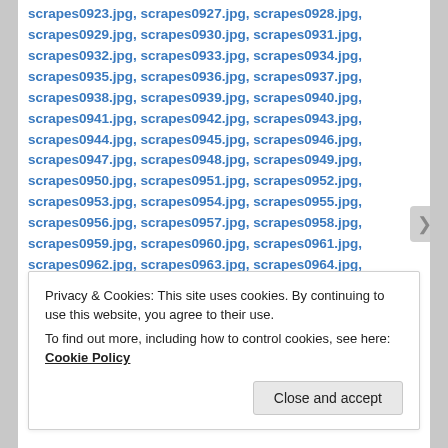scrapes0923.jpg, scrapes0927.jpg, scrapes0928.jpg, scrapes0929.jpg, scrapes0930.jpg, scrapes0931.jpg, scrapes0932.jpg, scrapes0933.jpg, scrapes0934.jpg, scrapes0935.jpg, scrapes0936.jpg, scrapes0937.jpg, scrapes0938.jpg, scrapes0939.jpg, scrapes0940.jpg, scrapes0941.jpg, scrapes0942.jpg, scrapes0943.jpg, scrapes0944.jpg, scrapes0945.jpg, scrapes0946.jpg, scrapes0947.jpg, scrapes0948.jpg, scrapes0949.jpg, scrapes0950.jpg, scrapes0951.jpg, scrapes0952.jpg, scrapes0953.jpg, scrapes0954.jpg, scrapes0955.jpg, scrapes0956.jpg, scrapes0957.jpg, scrapes0958.jpg, scrapes0959.jpg, scrapes0960.jpg, scrapes0961.jpg, scrapes0962.jpg, scrapes0963.jpg, scrapes0964.jpg, scrapes0965.jpg, scrapes0966.jpg, scrapes0967.jpg, scrapes0968.jpg, scrapes0969.jpg, scrapes0970.jpg, scrapes0971.jpg, scrapes0972.jpg, scrapes0973.jpg, scrapes0974.jpg, scrapes0975.jpg, scrapes0976.jpg
Privacy & Cookies: This site uses cookies. By continuing to use this website, you agree to their use. To find out more, including how to control cookies, see here: Cookie Policy